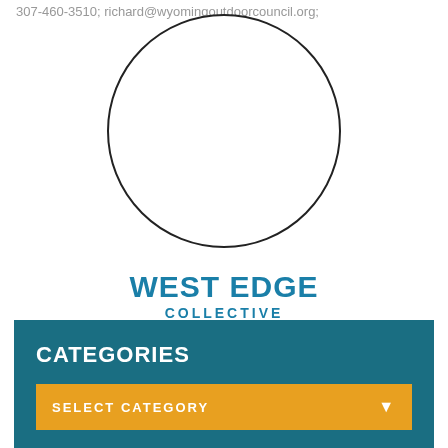307-460-3510; richard@wyomingoutdoorcouncil.org;
[Figure (illustration): Empty circle placeholder image for West Edge Collective staff profile]
WEST EDGE COLLECTIVE STAFF
CATEGORIES
SELECT CATEGORY